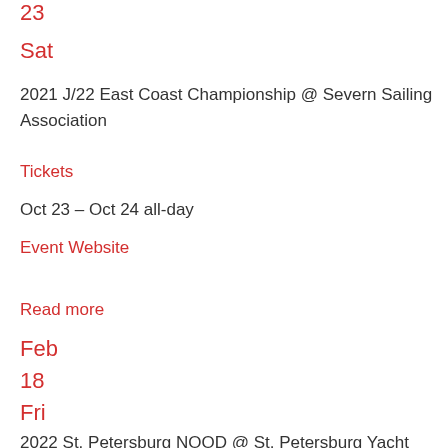23
Sat
2021 J/22 East Coast Championship @ Severn Sailing Association
Tickets
Oct 23 – Oct 24 all-day
Event Website
Read more
Feb
18
Fri
2022 St. Petersburg NOOD @ St. Petersburg Yacht Club